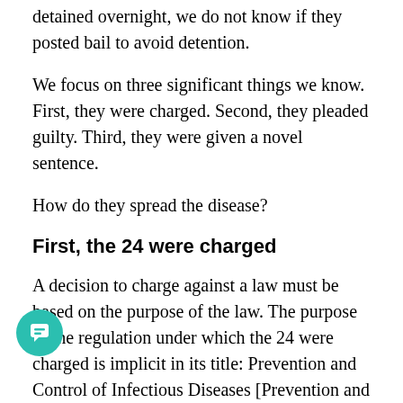tion or. Actually, we do not know if they were detained overnight, we do not know if they posted bail to avoid detention.
We focus on three significant things we know. First, they were charged. Second, they pleaded guilty. Third, they were given a novel sentence.
How do they spread the disease?
First, the 24 were charged
A decision to charge against a law must be based on the purpose of the law. The purpose of the regulation under which the 24 were charged is implicit in its title: Prevention and Control of Infectious Diseases [Prevention and Control of Infectious Diseases (Measures within